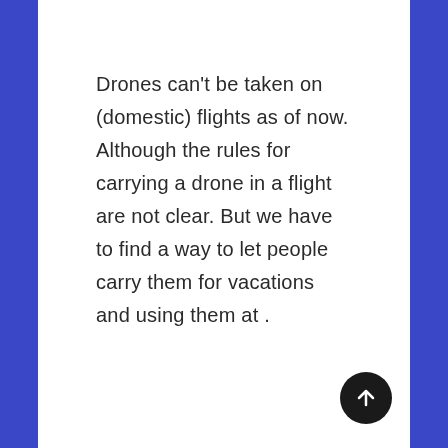Drones can't be taken on (domestic) flights as of now. Although the rules for carrying a drone in a flight are not clear. But we have to find a way to let people carry them for vacations and using them at .
[Figure (other): A dark circular scroll-to-top button with an upward arrow icon, positioned in the bottom-right corner of the page.]